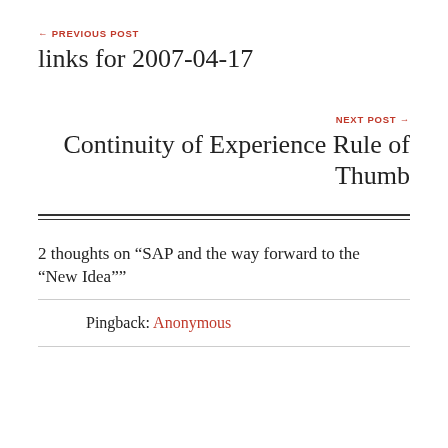← PREVIOUS POST
links for 2007-04-17
NEXT POST →
Continuity of Experience Rule of Thumb
2 thoughts on “SAP and the way forward to the “New Idea””
Pingback: Anonymous